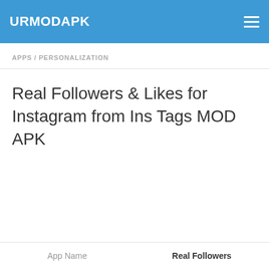URMODAPK
APPS / PERSONALIZATION
Real Followers & Likes for Instagram from Ins Tags MOD APK
| App Name | Real Followers |
| --- | --- |